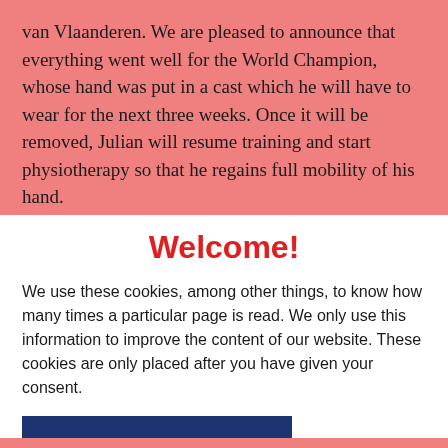van Vlaanderen. We are pleased to announce that everything went well for the World Champion, whose hand was put in a cast which he will have to wear for the next three weeks. Once it will be removed, Julian will resume training and start physiotherapy so that he regains full mobility of his hand.
"The crash was a scary moment, and when I found myself on the ground I thought of the worse. Fortunately, it's not that bad. I am
Welcome!
We use these cookies, among other things, to know how many times a particular page is read. We only use this information to improve the content of our website. These cookies are only placed after you have given your consent.
ACCEPT ALL COOKIES
Only accept minimum cookies   Cookie settings